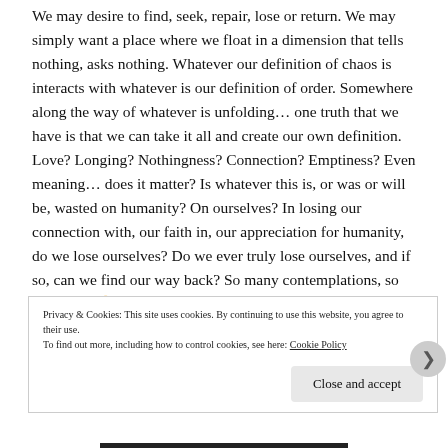We may desire to find, seek, repair, lose or return. We may simply want a place where we float in a dimension that tells nothing, asks nothing. Whatever our definition of chaos is interacts with whatever is our definition of order. Somewhere along the way of whatever is unfolding… one truth that we have is that we can take it all and create our own definition. Love? Longing? Nothingness? Connection? Emptiness? Even meaning… does it matter? Is whatever this is, or was or will be, wasted on humanity? On ourselves? In losing our connection with, our faith in, our appreciation for humanity, do we lose ourselves? Do we ever truly lose ourselves, and if so, can we find our way back? So many contemplations, so little time 🙂
Privacy & Cookies: This site uses cookies. By continuing to use this website, you agree to their use. To find out more, including how to control cookies, see here: Cookie Policy